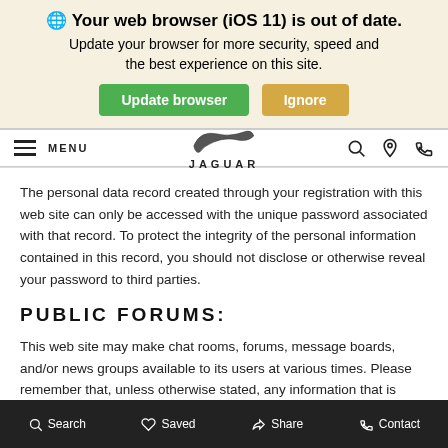[Figure (screenshot): Browser update banner: globe icon, bold title 'Your web browser (iOS 11) is out of date.', subtitle 'Update your browser for more security, speed and the best experience on this site.', green 'Update browser' button, gold 'Ignore' button]
[Figure (screenshot): Jaguar website navigation bar with hamburger menu icon, MENU text, Jaguar leaping cat logo and JAGUAR text, search icon, location pin icon, phone icon]
The personal data record created through your registration with this web site can only be accessed with the unique password associated with that record. To protect the integrity of the personal information contained in this record, you should not disclose or otherwise reveal your password to third parties.
PUBLIC FORUMS:
This web site may make chat rooms, forums, message boards, and/or news groups available to its users at various times. Please remember that, unless otherwise stated, any information that is disclosed in these areas becomes public information and you should exercise caution when deciding to
Search   Saved   Share   Contact